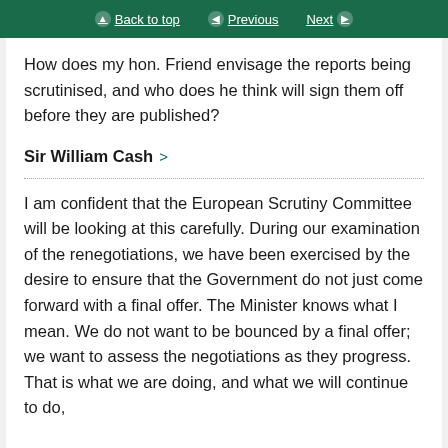Back to top  Previous  Next
How does my hon. Friend envisage the reports being scrutinised, and who does he think will sign them off before they are published?
Sir William Cash >
I am confident that the European Scrutiny Committee will be looking at this carefully. During our examination of the renegotiations, we have been exercised by the desire to ensure that the Government do not just come forward with a final offer. The Minister knows what I mean. We do not want to be bounced by a final offer; we want to assess the negotiations as they progress. That is what we are doing, and what we will continue to do,